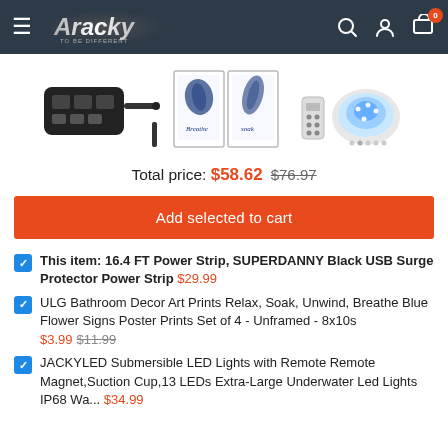[Figure (screenshot): Aracky e-commerce website header with hamburger menu, Aracky logo, search icon, user icon, and cart icon with 0 badge]
[Figure (photo): Three product images: black power strip with USB ports and cord, two blue botanical art prints in white frames, and a submersible LED light (blue glow) with remote]
Total price: $58.62 $76.97
Add selected to cart
This item: 16.4 FT Power Strip, SUPERDANNY Black USB Surge Protector Power Strip $29.99
ULG Bathroom Decor Art Prints Relax, Soak, Unwind, Breathe Blue Flower Signs Poster Prints Set of 4 - Unframed - 8x10s $3.99 $11.99
JACKYLED Submersible LED Lights with Remote Remote Magnet,Suction Cup,13 LEDs Extra-Large Underwater Led Lights IP68 Wa... $34.99